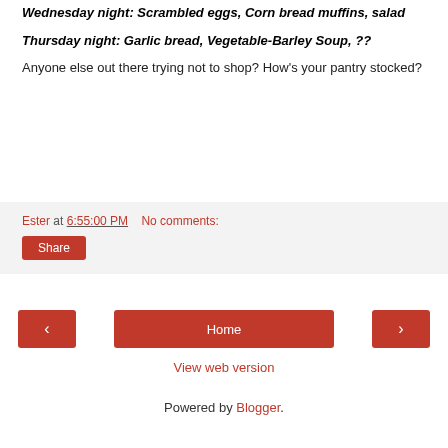Wednesday night: Scrambled eggs, Corn bread muffins, salad
Thursday night: Garlic bread, Vegetable-Barley Soup, ??
Anyone else out there trying not to shop? How's your pantry stocked?
Ester at 6:55:00 PM   No comments:
Share
Home
View web version
Powered by Blogger.